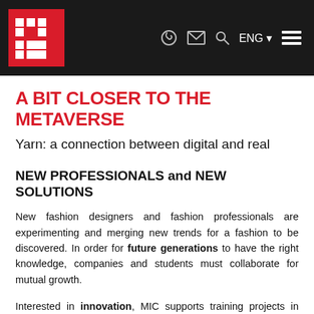MIC logo header with navigation icons: phone, email, search, ENG language selector, menu
A BIT CLOSER TO THE METAVERSE
Yarn: a connection between digital and real
NEW PROFESSIONALS and NEW SOLUTIONS
New fashion designers and fashion professionals are experimenting and merging new trends for a fashion to be discovered. In order for future generations to have the right knowledge, companies and students must collaborate for mutual growth.
Interested in innovation, MIC supports training projects in order to offer a knowledge that not only covers digital know-how of